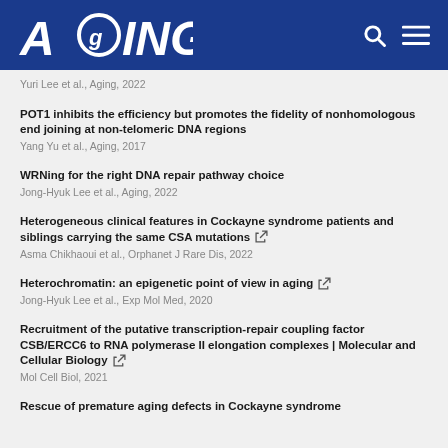AGING
Yuri Lee et al., Aging, 2022
POT1 inhibits the efficiency but promotes the fidelity of nonhomologous end joining at non-telomeric DNA regions
Yang Yu et al., Aging, 2017
WRNing for the right DNA repair pathway choice
Jong-Hyuk Lee et al., Aging, 2022
Heterogeneous clinical features in Cockayne syndrome patients and siblings carrying the same CSA mutations
Asma Chikhaoui et al., Orphanet J Rare Dis, 2022
Heterochromatin: an epigenetic point of view in aging
Jong-Hyuk Lee et al., Exp Mol Med, 2020
Recruitment of the putative transcription-repair coupling factor CSB/ERCC6 to RNA polymerase II elongation complexes | Molecular and Cellular Biology
Mol Cell Biol, 2021
Rescue of premature aging defects in Cockayne syndrome stem cells by CRISPR/Cas9-mediated gene correction